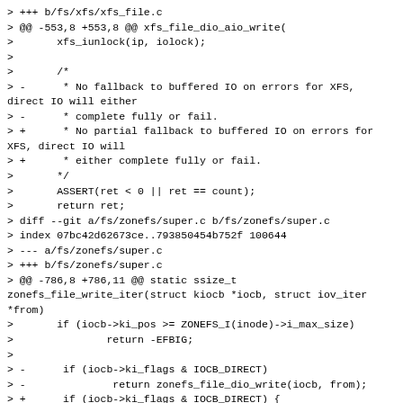> +++ b/fs/xfs/xfs_file.c
> @@ -553,8 +553,8 @@ xfs_file_dio_aio_write(
>       xfs_iunlock(ip, iolock);
>
>       /*
> -      * No fallback to buffered IO on errors for XFS, direct IO will either
> -      * complete fully or fail.
> +      * No partial fallback to buffered IO on errors for XFS, direct IO will
> +      * either complete fully or fail.
>       */
>       ASSERT(ret < 0 || ret == count);
>       return ret;
> diff --git a/fs/zonefs/super.c b/fs/zonefs/super.c
> index 07bc42d62673ce..793850454b752f 100644
> --- a/fs/zonefs/super.c
> +++ b/fs/zonefs/super.c
> @@ -786,8 +786,11 @@ static ssize_t zonefs_file_write_iter(struct kiocb *iocb, struct iov_iter *from)
>       if (iocb->ki_pos >= ZONEFS_I(inode)->i_max_size)
>               return -EFBIG;
>
> -      if (iocb->ki_flags & IOCB_DIRECT)
> -              return zonefs_file_dio_write(iocb, from);
> +      if (iocb->ki_flags & IOCB_DIRECT) {
> +              ret = zonefs_file_dio_write(iocb,